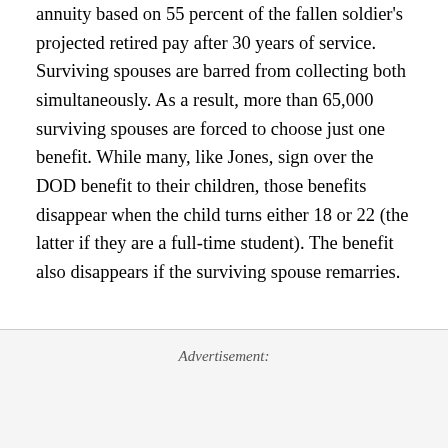annuity based on 55 percent of the fallen soldier's projected retired pay after 30 years of service. Surviving spouses are barred from collecting both simultaneously. As a result, more than 65,000 surviving spouses are forced to choose just one benefit. While many, like Jones, sign over the DOD benefit to their children, those benefits disappear when the child turns either 18 or 22 (the latter if they are a full-time student). The benefit also disappears if the surviving spouse remarries.
Advertisement: